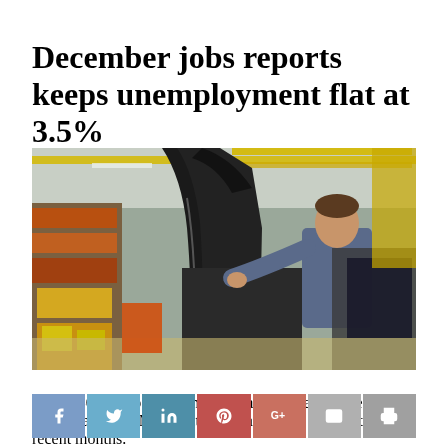December jobs reports keeps unemployment flat at 3.5%
[Figure (photo): A worker assembles an F-150 pickup at a Ford plant in Dearborn, Michigan. The worker stands at the assembly line handling large vehicle components with industrial equipment and yellow overhead structures visible in the background.]
An F-150 pickup is assembled at a Ford plant in Dearborn, Mich., last year. Manufacturing has been a soft spot in recent months.